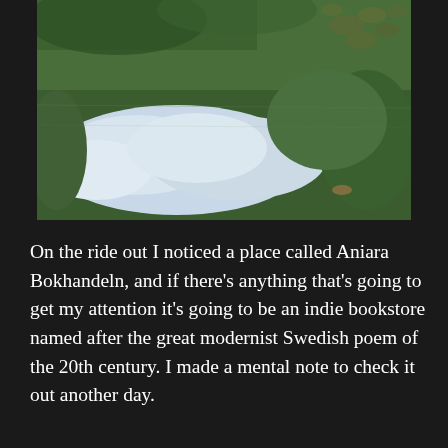[Figure (photo): A photograph of a pond or lake surface reflecting green grass, trees, and white clouds in the sky. Lily pads are visible in the upper right corner. The reflection creates a mirror-like image of the sky below the vegetation.]
On the ride out I noticed a place called Aniara Bokhandeln, and if there's anything that's going to get my attention it's going to be an indie bookstore named after the great modernist Swedish poem of the 20th century. I made a mental note to check it out another day.